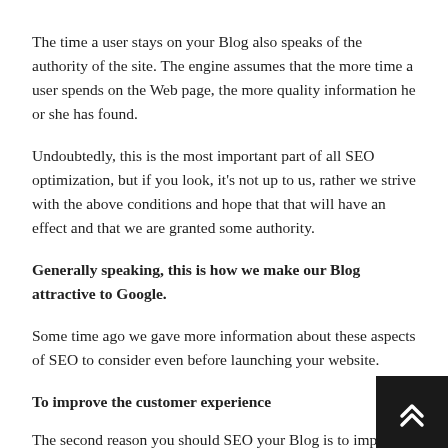The time a user stays on your Blog also speaks of the authority of the site. The engine assumes that the more time a user spends on the Web page, the more quality information he or she has found.
Undoubtedly, this is the most important part of all SEO optimization, but if you look, it's not up to us, rather we strive with the above conditions and hope that that will have an effect and that we are granted some authority.
Generally speaking, this is how we make our Blog attractive to Google.
Some time ago we gave more information about these aspects of SEO to consider even before launching your website.
To improve the customer experience
The second reason you should SEO your Blog is to improve the user experience. Search engines don't demand everything